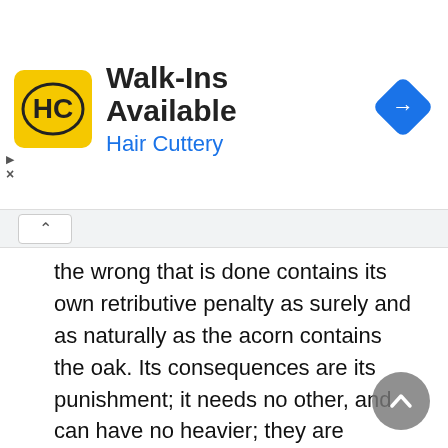[Figure (screenshot): Hair Cuttery advertisement banner with yellow logo, 'Walk-Ins Available' heading, 'Hair Cuttery' in blue, and a blue navigation/directions diamond icon on the right.]
the wrong that is done contains its own retributive penalty as surely and as naturally as the acorn contains the oak. Its consequences are its punishment; it needs no other, and can have no heavier; they are involved in its commission, and cannot be separated from it. A wrong done to another is an injury done to our own Nature, an offence against our own souls, a disfiguring of the image of the Beautiful and Good. Punishment is not the execution of a sentence, but the occurrence of an effect. It is ordained to follow guilt, not by the decree of God as a judge, but by a law enacted by Him as the Creator and Legislator of the Universe. It is not an arbitrary and artificial annexation, but an